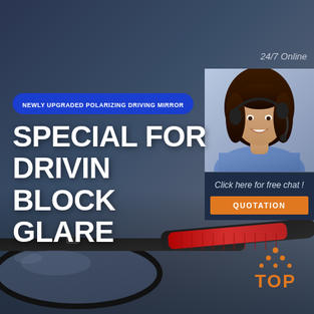[Figure (photo): Dark blue-grey gradient background with polarizing driving glasses (black frame with red accents) in the foreground at the bottom, and a customer service agent photo in the upper right panel.]
24/7 Online
NEWLY UPGRADED POLARIZING DRIVING MIRROR
SPECIAL FOR DRIVING BLOCK GLARE
Click here for free chat !
QUOTATION
[Figure (logo): Orange TOP brand logo with dots forming a triangle above the text TOP]